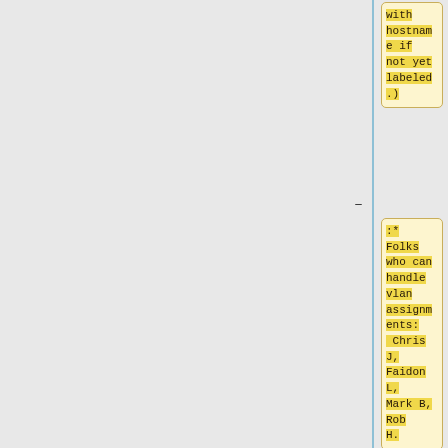with hostname if not yet labeled.)
:* Folks who can handle vlan assignments: Chris J, Faidon L, Mark B, Rob H.
::* Any ops folks who want this ability should speak to our network admins.